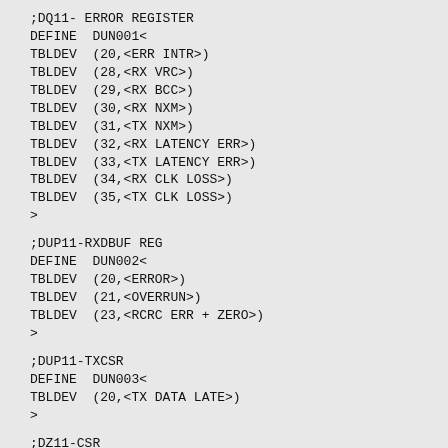;DQ11- ERROR REGISTER
DEFINE  DUN001<
TBLDEV  (20,<ERR INTR>)
TBLDEV  (28,<RX VRC>)
TBLDEV  (29,<RX BCC>)
TBLDEV  (30,<RX NXM>)
TBLDEV  (31,<TX NXM>)
TBLDEV  (32,<RX LATENCY ERR>)
TBLDEV  (33,<TX LATENCY ERR>)
TBLDEV  (34,<RX CLK LOSS>)
TBLDEV  (35,<TX CLK LOSS>)
>
;DUP11-RXDBUF REG
DEFINE  DUN002<
TBLDEV  (20,<ERROR>)
TBLDEV  (21,<OVERRUN>)
TBLDEV  (23,<RCRC ERR + ZERO>)
>
;DUP11-TXCSR
DEFINE  DUN003<
TBLDEV  (20,<TX DATA LATE>)
>
;DZ11-CSR
DEFINE  DUN004<
TBLDEV  (22,<SILO ALARM>)
TBLDEV  (32,<MAINT.>)
>